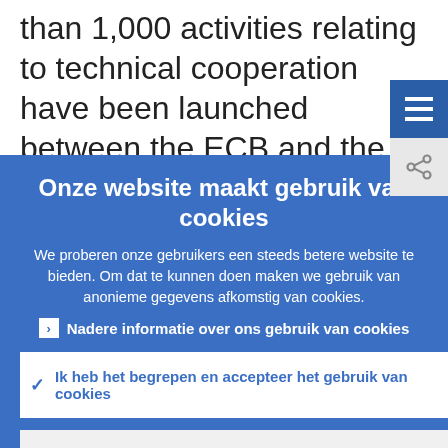than 1,000 activities relating to technical cooperation have been launched between the ECB and the accession country central banks (ACCBs) to help them prepare for
Onze website maakt gebruik van cookies
We proberen onze gebruikers een steeds betere website te bieden. Om dat te kunnen doen maken we gebruik van anonieme gegevens afkomstig van cookies.
Nadere informatie over ons gebruik van cookies
Ik heb het begrepen en accepteer het gebruik van cookies
Ik weiger cookies